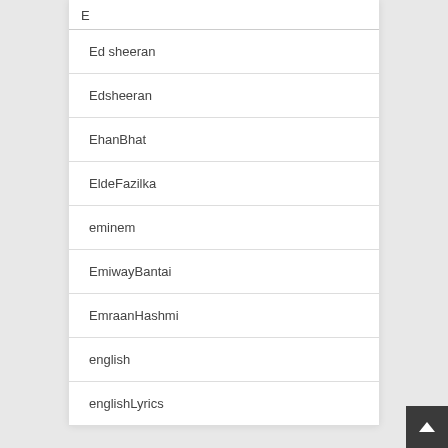E
Ed sheeran
Edsheeran
EhanBhat
EldeFazilka
eminem
EmiwayBantai
EmraanHashmi
english
englishLyrics